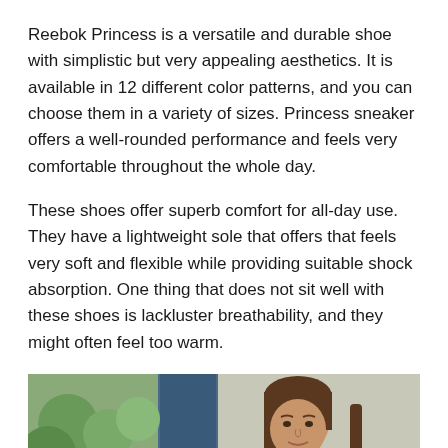Reebok Princess is a versatile and durable shoe with simplistic but very appealing aesthetics. It is available in 12 different color patterns, and you can choose them in a variety of sizes. Princess sneaker offers a well-rounded performance and feels very comfortable throughout the whole day.
These shoes offer superb comfort for all-day use. They have a lightweight sole that offers that feels very soft and flexible while providing suitable shock absorption. One thing that does not sit well with these shoes is lackluster breathability, and they might often feel too warm.
[Figure (photo): A woman with brown hair standing outdoors, partial view showing face and upper body]